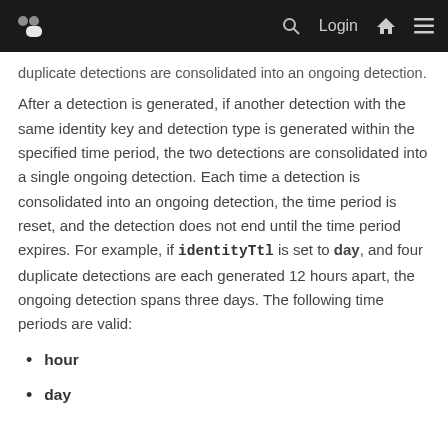identityTtl - (navigation bar with logo, search, Login, home, menu icons)
duplicate detections are consolidated into an ongoing detection.
After a detection is generated, if another detection with the same identity key and detection type is generated within the specified time period, the two detections are consolidated into a single ongoing detection. Each time a detection is consolidated into an ongoing detection, the time period is reset, and the detection does not end until the time period expires. For example, if identityTtl is set to day, and four duplicate detections are each generated 12 hours apart, the ongoing detection spans three days. The following time periods are valid:
hour
day